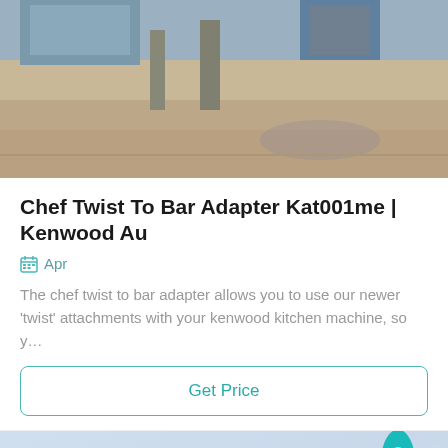[Figure (photo): Outdoor industrial/construction area photo showing a building or structure with sandy/dusty ground]
Chef Twist To Bar Adapter Kat001me | Kenwood Au
Apr
The chef twist to bar adapter allows you to use our newer 'twist' attachments with your kenwood kitchen machine, so y…
Get Price
[Figure (photo): Sky and power lines photo with a teal rocket icon in the top right corner]
Leave Message
Chat Online